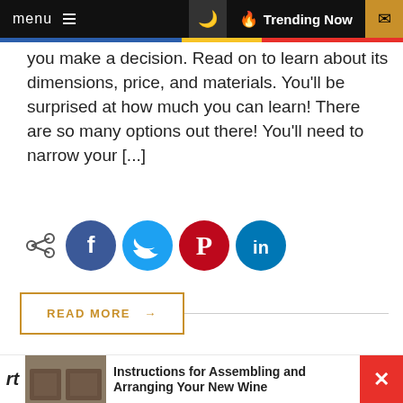menu  🌙  🔥 Trending Now  ✉
you make a decision. Read on to learn about its dimensions, price, and materials. You'll be surprised at how much you can learn! There are so many options out there! You'll need to narrow your [...]
[Figure (infographic): Social sharing icons: share icon, Facebook (blue), Twitter (light blue), Pinterest (red), LinkedIn (teal)]
READ MORE →
[Figure (photo): Two people in business attire shaking hands, with a 74% circular progress badge overlay in red]
Instructions for Assembling and Arranging Your New Wine